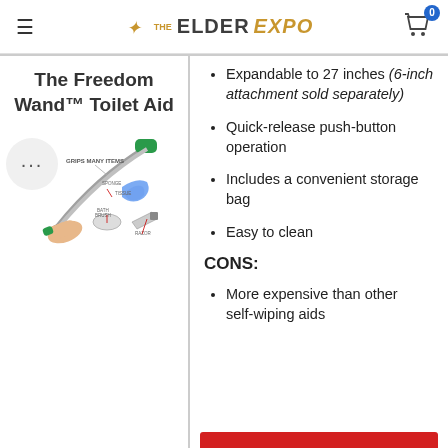THE ELDER EXPO
The Freedom Wand™ Toilet Aid
[Figure (photo): Photo of the Freedom Wand toilet aid device being held in a hand, with diagram showing 'GRIPS MANY ITEMS' and labeled attachments.]
Expandable to 27 inches (6-inch attachment sold separately)
Quick-release push-button operation
Includes a convenient storage bag
Easy to clean
CONS:
More expensive than other self-wiping aids